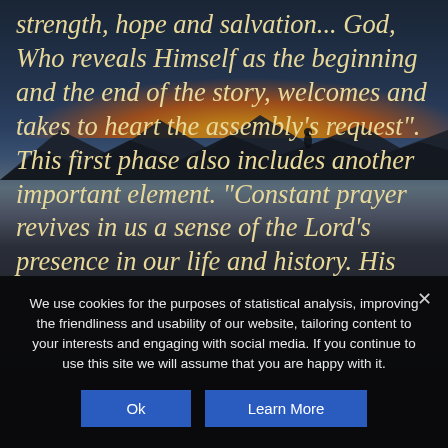[Figure (photo): Dark atmospheric background photo of a sunset/dusk scene with dramatic clouds, orange glow on the horizon, mountains silhouette, and a small silhouette of a person standing on a hill.]
strength, hope and salvation... God, Who reveals Himself as the beginning and the end of the story, welcomes and takes to heart the assembly's request". This first phase also includes another important element. “Constant prayer revives in us a sense of the Lord’s presence in our life and history. His
We use cookies for the purposes of statistical analysis, improving the friendliness and usability of our website, tailoring content to your interests and engaging with social media. If you continue to use this site we will assume that you are happy with it.